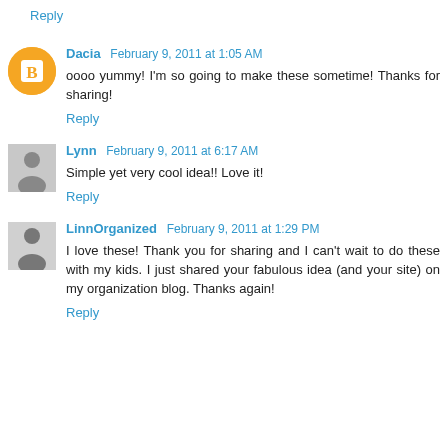Reply
Dacia February 9, 2011 at 1:05 AM
oooo yummy! I'm so going to make these sometime! Thanks for sharing!
Reply
Lynn February 9, 2011 at 6:17 AM
Simple yet very cool idea!! Love it!
Reply
LinnOrganized February 9, 2011 at 1:29 PM
I love these! Thank you for sharing and I can't wait to do these with my kids. I just shared your fabulous idea (and your site) on my organization blog. Thanks again!
Reply